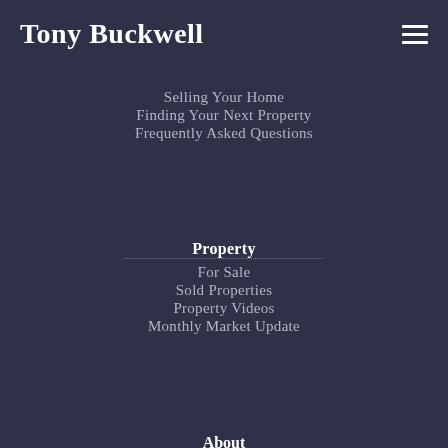Tony Buckwell
Selling Your Home
Finding Your Next Property
Frequently Asked Questions
Property
For Sale
Sold Properties
Property Videos
Monthly Market Update
About